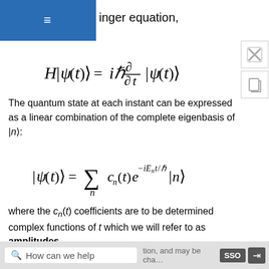inger equation,
The quantum state at each instant can be expressed as a linear combination of the complete eigenbasis of |n⟩:
where the c_n(t) coefficients are to be determined complex functions of t which we will refer to as amplitudes
We have explicitly extracted the exponential phase factors exp(−iE_n t/ℏ) on the right hand side. This is
How can we help   tion, and may be cha…   SSO